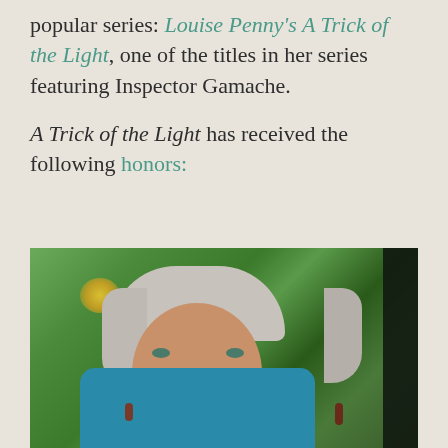popular series: Louise Penny's A Trick of the Light, one of the titles in her series featuring Inspector Gamache.
A Trick of the Light has received the following honors:
[Figure (photo): Photograph of Louise Penny, a woman with short grey and white hair, smiling, wearing a teal patterned top, photographed outdoors with green foliage in the background.]